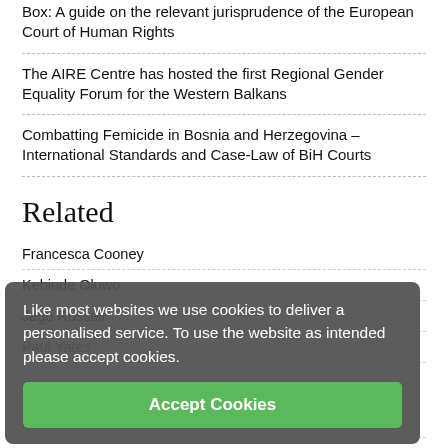Box: A guide on the relevant jurisprudence of the European Court of Human Rights
The AIRE Centre has hosted the first Regional Gender Equality Forum for the Western Balkans
Combatting Femicide in Bosnia and Herzegovina – International Standards and Case-Law of BiH Courts
Related
Francesca Cooney
Kehinde Oluwo
Jago Russell
Paul Yates
Jo Shaw
Like most websites we use cookies to deliver a personalised service. To use the website as intended please accept cookies.
Accept Cookies